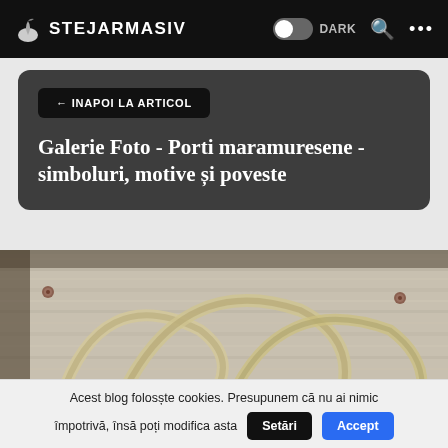STEJARMASIV
← INAPOI LA ARTICOL
Galerie Foto - Porti maramuresene - simboluri, motive și poveste
[Figure (photo): Close-up of weathered wooden surface with carved circular arc motifs typical of Maramures gates, showing aged grey wood grain with metal nail details and pale carved decorative rope-like pattern.]
Acest blog folosește cookies. Presupunem că nu ai nimic împotrivă, însă poți modifica asta